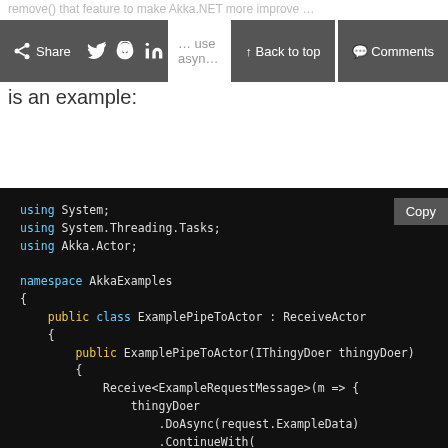remove() that feature to make Akka.NET more improve ... use async ... is an example:
[Figure (screenshot): Toolbar with Share, Twitter, Reddit, LinkedIn, Back to top, and Comments buttons]
is an example:
[Figure (screenshot): C# code block showing ExamplePipeToActor class using Akka.Actor with Receive and PipeTo pattern]